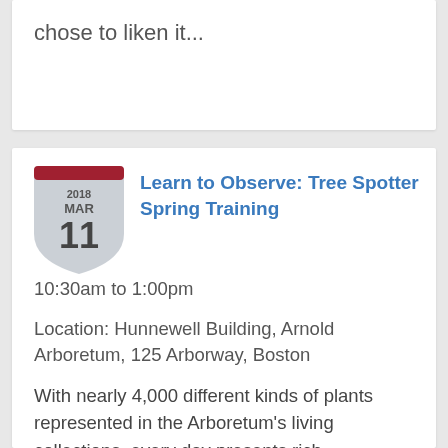chose to liken it...
[Figure (illustration): Calendar badge shield icon showing 2018 MAR 11 in gray shield shape with red top bar]
Learn to Observe: Tree Spotter Spring Training
10:30am to 1:00pm
Location: Hunnewell Building, Arnold Arboretum, 125 Arborway, Boston
With nearly 4,000 different kinds of plants represented in the Arboretum's living collections, every day presents rich opportunities to see something new. If you enjoy learning about plants and their